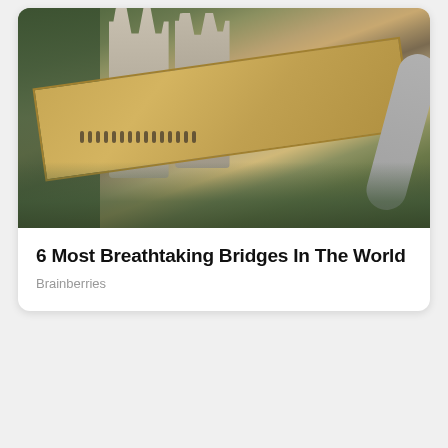[Figure (photo): Aerial view of the Golden Bridge in Vietnam, supported by giant stone hands, with a golden walkway and lush green forest below. People are visible walking on the bridge. A winding road is visible in the upper right.]
6 Most Breathtaking Bridges In The World
Brainberries